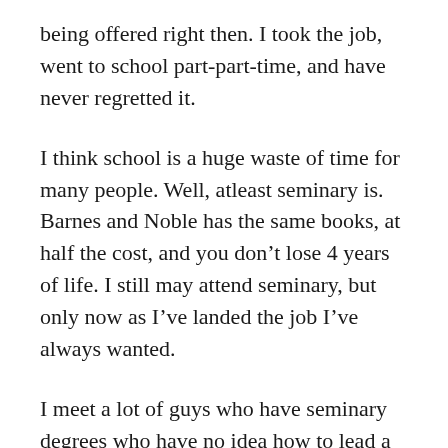being offered right then. I took the job, went to school part-part-time, and have never regretted it.
I think school is a huge waste of time for many people. Well, atleast seminary is. Barnes and Noble has the same books, at half the cost, and you don’t lose 4 years of life. I still may attend seminary, but only now as I’ve landed the job I’ve always wanted.
I meet a lot of guys who have seminary degrees who have no idea how to lead a ministry. I’m NOT saying that seminary is a bad thing, it’s just not the answer. If you’re in seminary, keep plugging away!